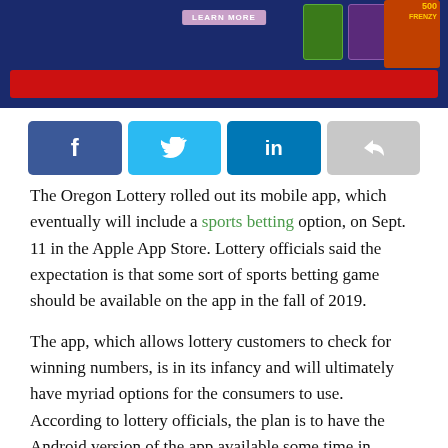[Figure (screenshot): Screenshot of Oregon Lottery mobile app showing scratch card games, a 'LEARN MORE' button, and a red banner bar at the bottom, on a dark blue background.]
[Figure (infographic): Social sharing button bar with four buttons: Facebook (dark blue with f icon), Twitter (light blue with bird icon), LinkedIn (teal with 'in' icon), and a grey share/reply button.]
The Oregon Lottery rolled out its mobile app, which eventually will include a sports betting option, on Sept. 11 in the Apple App Store. Lottery officials said the expectation is that some sort of sports betting game should be available on the app in the fall of 2019.
The app, which allows lottery customers to check for winning numbers, is in its infancy and will ultimately have myriad options for the consumers to use. According to lottery officials, the plan is to have the Android version of the app available some time in November, and at that the point, the lottery will begin marketing it.